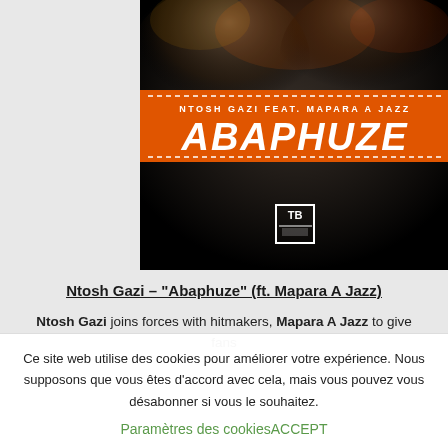[Figure (illustration): Album artwork for 'Abaphuze' by Ntosh Gazi feat. Mapara A Jazz. Dark background with two artists, orange banner with text 'NTOSH GAZI FEAT. MAPARA A JAZZ' and large white bold italic text 'ABAPHUZE' with a record label logo at the bottom.]
Ntosh Gazi – "Abaphuze" (ft. Mapara A Jazz)
Ntosh Gazi joins forces with hitmakers, Mapara A Jazz to give fans
Ce site web utilise des cookies pour améliorer votre expérience. Nous supposons que vous êtes d'accord avec cela, mais vous pouvez vous désabonner si vous le souhaitez.
Paramètres des cookiesACCEPT